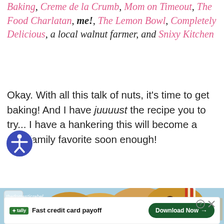Baking, Creme de la Crumb, Mom on Timeout, The Food Charlatan, me!, The Lemon Bowl, Completely Delicious, a local walnut farmer, and Snixy Kitchen
Okay. With all this talk of nuts, it's time to get baking! And I have juuuust the recipe you to try... I have a hankering this will become a new family favorite soon enough!
[Figure (photo): Photo of chocolate chip cookies tied with red and white twine on a light blue background, with a glass of milk partially visible. Watermark reads 'thedomesticrebel'.]